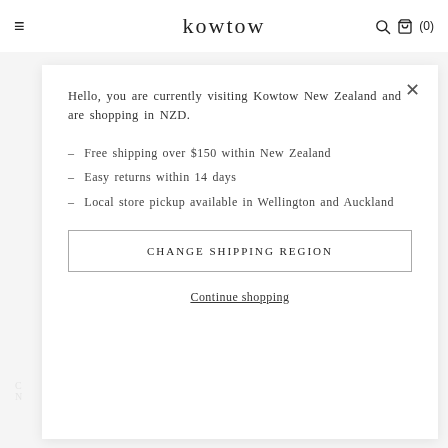≡  kowtow  🔍 🛍 (0)
Hello, you are currently visiting Kowtow New Zealand and are shopping in NZD.
– Free shipping over $150 within New Zealand
– Easy returns within 14 days
– Local store pickup available in Wellington and Auckland
CHANGE SHIPPING REGION
Continue shopping
SUPPORT ∨